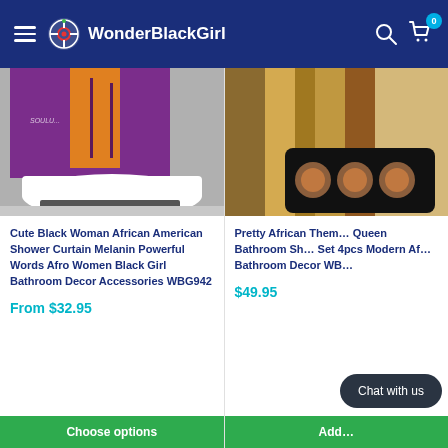WonderBlackGirl
[Figure (photo): Shower curtain product image showing bathroom with purple/orange shower curtain and a white bathtub with dark floor mat]
Cute Black Woman African American Shower Curtain Melanin Powerful Words Afro Women Black Girl Bathroom Decor Accessories WBG942
From $32.95
[Figure (photo): Bathroom set product image showing shower curtain and bath mat with African queen imagery on black background]
Pretty African Them... Queen Bathroom Sh... Set 4pcs Modern Af... Bathroom Decor WB...
$49.95